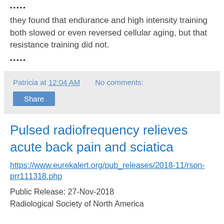•••••
they found that endurance and high intensity training both slowed or even reversed cellular aging, but that resistance training did not.
•••••
Patricia at 12:04 AM   No comments:
Share
Pulsed radiofrequency relieves acute back pain and sciatica
https://www.eurekalert.org/pub_releases/2018-11/rson-prr111318.php
Public Release: 27-Nov-2018
Radiological Society of North America